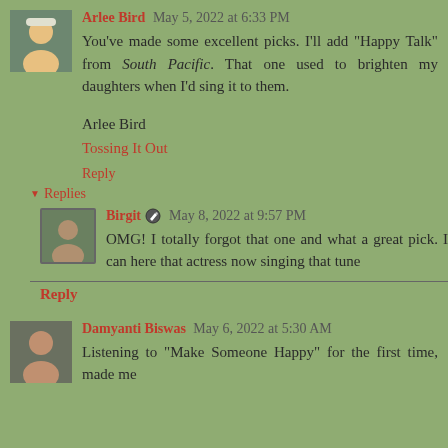Arlee Bird May 5, 2022 at 6:33 PM
You've made some excellent picks. I'll add "Happy Talk" from South Pacific. That one used to brighten my daughters when I'd sing it to them.
Arlee Bird
Tossing It Out
Reply
Replies
Birgit May 8, 2022 at 9:57 PM
OMG! I totally forgot that one and what a great pick. I can here that actress now singing that tune
Reply
Damyanti Biswas May 6, 2022 at 5:30 AM
Listening to "Make Someone Happy" for the first time, made me